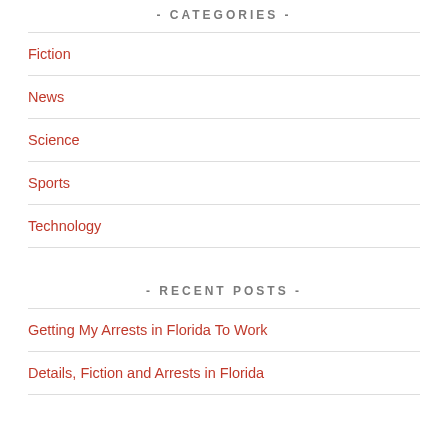- CATEGORIES -
Fiction
News
Science
Sports
Technology
- RECENT POSTS -
Getting My Arrests in Florida To Work
Details, Fiction and Arrests in Florida